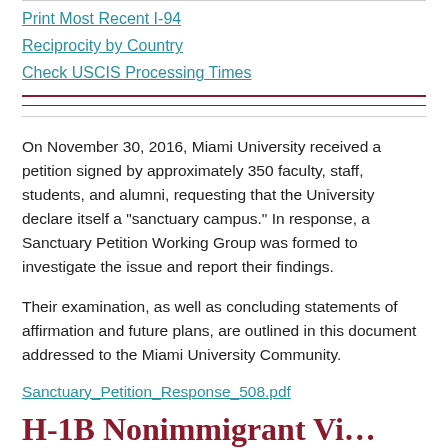Print Most Recent I-94
Reciprocity by Country
Check USCIS Processing Times
On November 30, 2016, Miami University received a petition signed by approximately 350 faculty, staff, students, and alumni, requesting that the University declare itself a "sanctuary campus." In response, a Sanctuary Petition Working Group was formed to investigate the issue and report their findings.
Their examination, as well as concluding statements of affirmation and future plans, are outlined in this document addressed to the Miami University Community.
Sanctuary_Petition_Response_508.pdf
H-1B Nonimmigrant Vi…